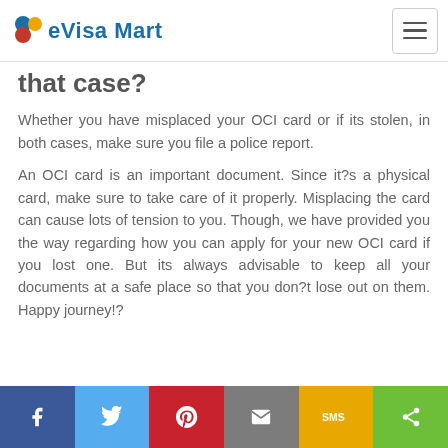eVisa Mart
that case?
Whether you have misplaced your OCI card or if its stolen, in both cases, make sure you file a police report.
An OCI card is an important document. Since it?s a physical card, make sure to take care of it properly. Misplacing the card can cause lots of tension to you. Though, we have provided you the way regarding how you can apply for your new OCI card if you lost one. But its always advisable to keep all your documents at a safe place so that you don?t lose out on them. Happy journey!?
Share buttons: Facebook, Twitter, Pinterest, Email, SMS, Share